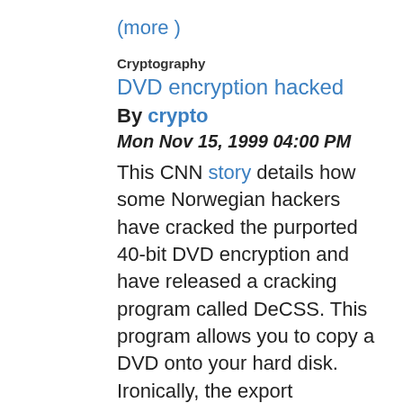(more )
Cryptography
DVD encryption hacked
By crypto
Mon Nov 15, 1999 04:00 PM
This CNN story details how some Norwegian hackers have cracked the purported 40-bit DVD encryption and have released a cracking program called DeCSS. This program allows you to copy a DVD onto your hard disk. Ironically, the export restrictions on encryption made it